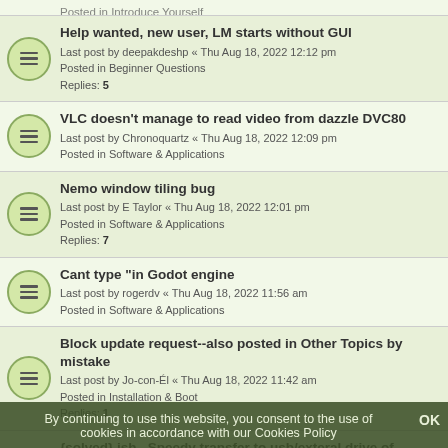Posted in Introduce Yourself (partial, top of page)
Help wanted, new user, LM starts without GUI
Last post by deepakdeshp « Thu Aug 18, 2022 12:12 pm
Posted in Beginner Questions
Replies: 5
VLC doesn't manage to read video from dazzle DVC80
Last post by Chronoquartz « Thu Aug 18, 2022 12:09 pm
Posted in Software & Applications
Nemo window tiling bug
Last post by E Taylor « Thu Aug 18, 2022 12:01 pm
Posted in Software & Applications
Replies: 7
Cant type "in Godot engine
Last post by rogerdv « Thu Aug 18, 2022 11:56 am
Posted in Software & Applications
Block update request--also posted in Other Topics by mistake
Last post by Jo-con-Él « Thu Aug 18, 2022 11:42 am
Posted in Installation & Boot
Replies: 1
{solved} ish.. Speedy transfer to usb/exteral drive of important info?
Last post by gittiest personITW « Thu Aug 18, 2022 11:32 am
Posted in Beginner Questions
Replies: 4
LO Writer Menu selection during Editing (partial, bottom of page)
By continuing to use this website, you consent to the use of cookies in accordance with our Cookies Policy
OK